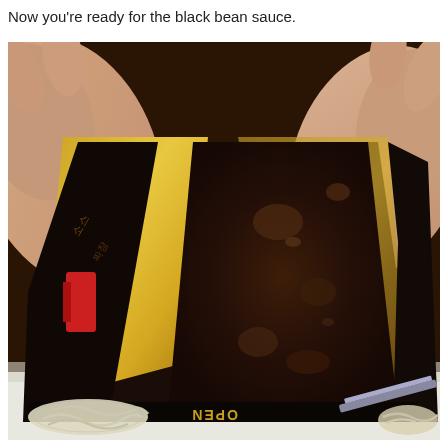Now you're ready for the black bean sauce.
[Figure (photo): Close-up photo of hands opening a dark foil pouch containing thick dark black bean sauce. The pouch has gold interior lining and the word 'OPEN' printed in gold text near the bottom. A small red label is visible on the left side. In the foreground at the bottom of the image are some light-colored noodles or food items on a white surface.]